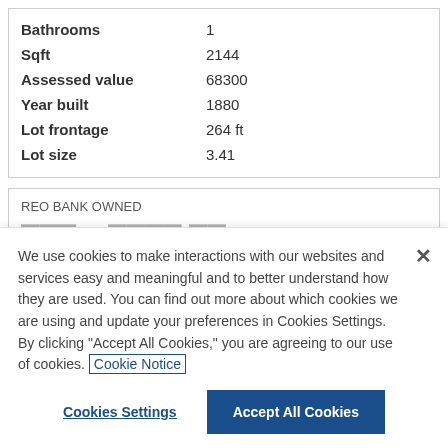| Property | Value |
| --- | --- |
| Bathrooms | 1 |
| Sqft | 2144 |
| Assessed value | 68300 |
| Year built | 1880 |
| Lot frontage | 264 ft |
| Lot size | 3.41 |
REO BANK OWNED
[redacted] , Akron, 14001
We use cookies to make interactions with our websites and services easy and meaningful and to better understand how they are used. You can find out more about which cookies we are using and update your preferences in Cookies Settings. By clicking "Accept All Cookies," you are agreeing to our use of cookies. Cookie Notice
Cookies Settings
Accept All Cookies